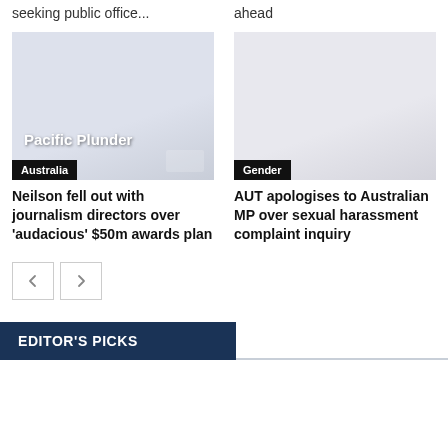seeking public office...
ahead
[Figure (photo): Image card with text 'Pacific Plunder' overlaid on a light blue-grey background, with Australia label tag at bottom left]
Neilson fell out with journalism directors over 'audacious' $50m awards plan
[Figure (photo): Empty light grey image placeholder with Gender label tag at bottom left]
AUT apologises to Australian MP over sexual harassment complaint inquiry
EDITOR'S PICKS